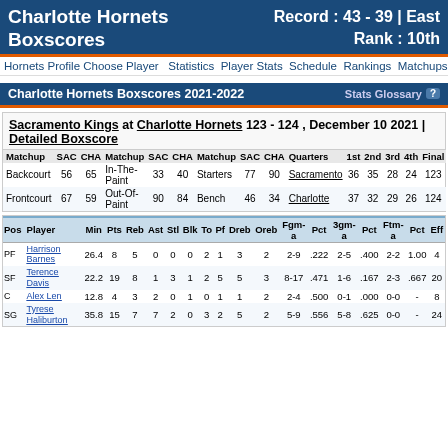Charlotte Hornets Boxscores | Record : 43 - 39 | East Rank : 10th
Charlotte Hornets Boxscores 2021-2022 | Stats Glossary
Sacramento Kings at Charlotte Hornets 123 - 124 , December 10 2021 | Detailed Boxscore
| Matchup | SAC | CHA | Matchup | SAC | CHA | Matchup | SAC | CHA | Quarters | 1st | 2nd | 3rd | 4th | Final |
| --- | --- | --- | --- | --- | --- | --- | --- | --- | --- | --- | --- | --- | --- | --- |
| Backcourt | 56 | 65 | In-The-Paint | 33 | 40 | Starters | 77 | 90 | Sacramento | 36 | 35 | 28 | 24 | 123 |
| Frontcourt | 67 | 59 | Out-Of-Paint | 90 | 84 | Bench | 46 | 34 | Charlotte | 37 | 32 | 29 | 26 | 124 |
| Pos | Player | Min | Pts | Reb | Ast | Stl | Blk | To | Pf | Dreb | Oreb | Fgm-a | Pct | 3gm-a | Pct | Ftm-a | Pct | Eff |
| --- | --- | --- | --- | --- | --- | --- | --- | --- | --- | --- | --- | --- | --- | --- | --- | --- | --- | --- |
| PF | Harrison Barnes | 26.4 | 8 | 5 | 0 | 0 | 0 | 2 | 1 | 3 | 2 | 2-9 | .222 | 2-5 | .400 | 2-2 | 1.00 | 4 |
| SF | Terence Davis | 22.2 | 19 | 8 | 1 | 3 | 1 | 2 | 5 | 5 | 3 | 8-17 | .471 | 1-6 | .167 | 2-3 | .667 | 20 |
| C | Alex Len | 12.8 | 4 | 3 | 2 | 0 | 1 | 0 | 1 | 1 | 2 | 2-4 | .500 | 0-1 | .000 | 0-0 | - | 8 |
| SG | Tyrese Haliburton | 35.8 | 15 | 7 | 7 | 2 | 0 | 3 | 2 | 5 | 2 | 5-9 | .556 | 5-8 | .625 | 0-0 | - | 24 |